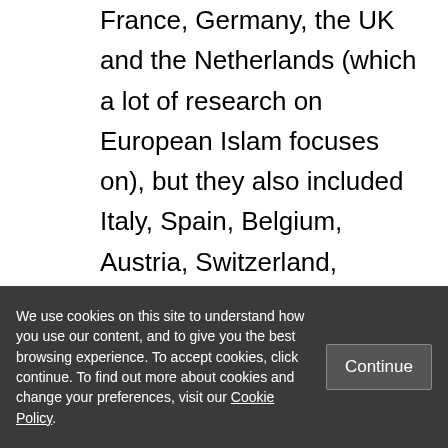France, Germany, the UK and the Netherlands (which a lot of research on European Islam focuses on), but they also included Italy, Spain, Belgium, Austria, Switzerland, Denmark, Norway, Bosnia-Herzegovina and Turkey. Their inclusion of the Bosnian and Turkish cases is particularly commendable as European majority-Muslim countries are usually left out of analyses of European Islam. It would have been
We use cookies on this site to understand how you use our content, and to give you the best browsing experience. To accept cookies, click continue. To find out more about cookies and change your preferences, visit our Cookie Policy.